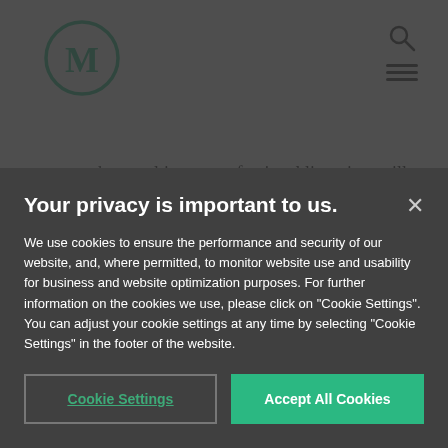[Figure (logo): Circular logo with letter M in dark green, outlined circle border]
areas, such as multi-state professional licensing, will likely take more time due to their complexity.
Reimbursement models based around episodic care are a major hurdle to the adoption of an...
Your privacy is important to us.
We use cookies to ensure the performance and security of our website, and, where permitted, to monitor website use and usability for business and website optimization purposes. For further information on the cookies we use, please click on "Cookie Settings". You can adjust your cookie settings at any time by selecting "Cookie Settings" in the footer of the website.
Cookie Settings
Accept All Cookies